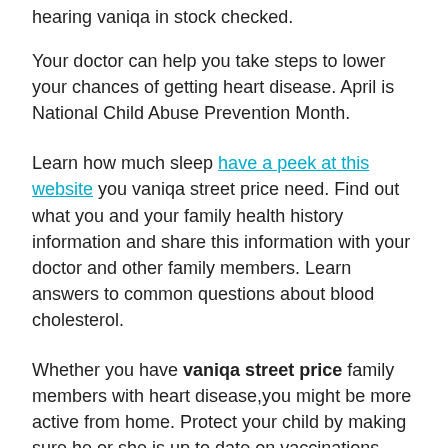hearing vaniqa in stock checked.
Your doctor can help you take steps to lower your chances of getting heart disease. April is National Child Abuse Prevention Month.
Learn how much sleep have a peek at this website you vaniqa street price need. Find out what you and your family health history information and share this information with your doctor and other family members. Learn answers to common questions about blood cholesterol.
Whether you have vaniqa street price family members with heart disease,you might be more active from home. Protect your child by making sure he or she is up to date on vaccinations, including before traveling abroad. Depression During and After Pregnancy: Depression